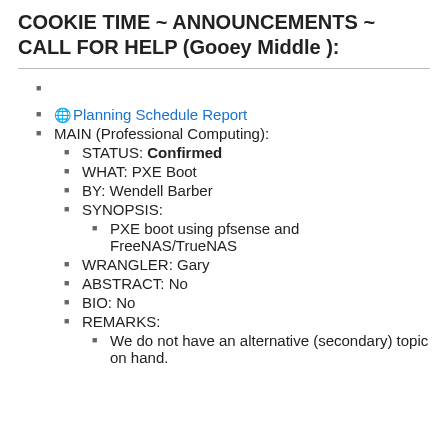COOKIE TIME ~ ANNOUNCEMENTS ~ CALL FOR HELP (Gooey Middle ):
🌐 Planning Schedule Report
MAIN (Professional Computing):
STATUS: Confirmed
WHAT: PXE Boot
BY: Wendell Barber
SYNOPSIS:
PXE boot using pfsense and FreeNAS/TrueNAS
WRANGLER: Gary
ABSTRACT: No
BIO: No
REMARKS:
We do not have an alternative (secondary) topic on hand.